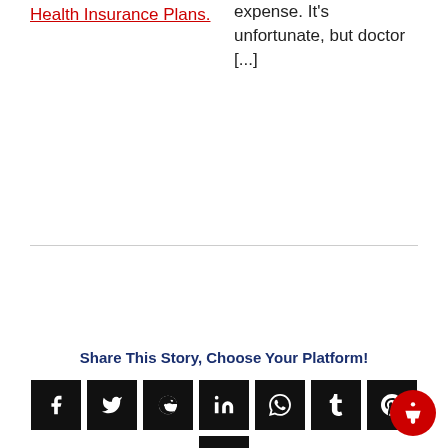Health Insurance Plans.
expense. It's unfortunate, but doctor [...]
Share This Story, Choose Your Platform!
[Figure (infographic): Row of social media share buttons: Facebook, Twitter, Reddit, LinkedIn, WhatsApp, Tumblr, Pinterest, VK, Xing, Email]
[Figure (other): Red circular accessibility button in bottom right corner]